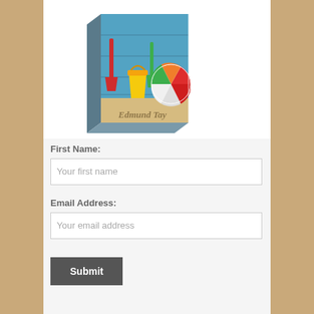[Figure (illustration): 3D book cover showing beach toys (red shovel, yellow bucket, green shovel, colorful beach ball) in sand against blue wooden planks background, with text 'Edmund Tay' on the sand]
First Name:
Your first name
Email Address:
Your email address
Submit